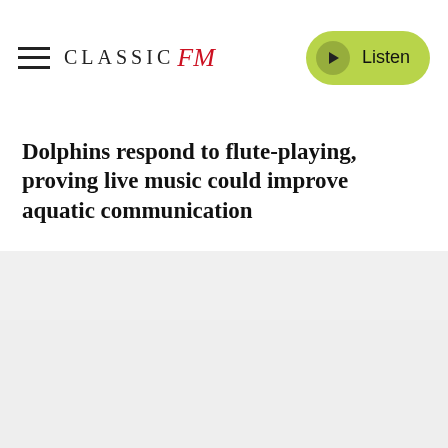CLASSIC FM — Listen
Dolphins respond to flute-playing, proving live music could improve aquatic communication